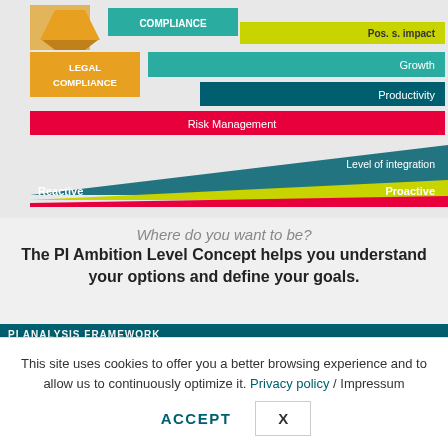[Figure (infographic): PI Ambition Level Concept diagram showing compliance levels from Reactive to Proactive. Includes colored horizontal bars for Legal Compliance (orange), Compliance (teal), Pos. s. impact (yellow-green), Growth (teal), Productivity (dark teal), Risk Management (pink/red), and a triangular Level of integration shape with Reactive and Proactive labels.]
Where do you want to be?
The PI Ambition Level Concept helps you understand your options and define your goals.
PI ANALYSIS FRAMEWORK
Example PI Benchmark
This site uses cookies to offer you a better browsing experience and to allow us to continuously optimize it. Privacy policy / Impressum
ACCEPT  X